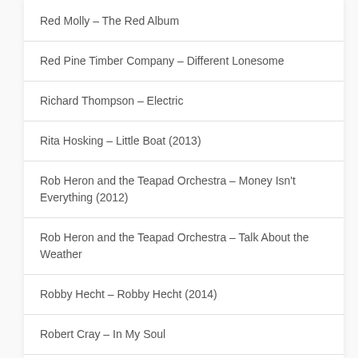Red Molly – The Red Album
Red Pine Timber Company – Different Lonesome
Richard Thompson – Electric
Rita Hosking – Little Boat (2013)
Rob Heron and the Teapad Orchestra – Money Isn't Everything (2012)
Rob Heron and the Teapad Orchestra – Talk About the Weather
Robby Hecht – Robby Hecht (2014)
Robert Cray – In My Soul
Robert Plant and the Shape Shifters – Lullaby & the Ceaseless Roar